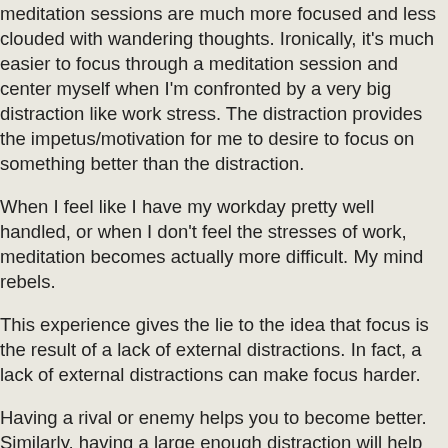meditation sessions are much more focused and less clouded with wandering thoughts. Ironically, it's much easier to focus through a meditation session and center myself when I'm confronted by a very big distraction like work stress. The distraction provides the impetus/motivation for me to desire to focus on something better than the distraction.
When I feel like I have my workday pretty well handled, or when I don't feel the stresses of work, meditation becomes actually more difficult. My mind rebels.
This experience gives the lie to the idea that focus is the result of a lack of external distractions. In fact, a lack of external distractions can make focus harder.
Having a rival or enemy helps you to become better. Similarly, having a large enough distraction will help you to become more focused on bringing distractions to heel through practices like meditation – but also through prioritization, action, or delegation.
If you want to become focused, become very distracted...